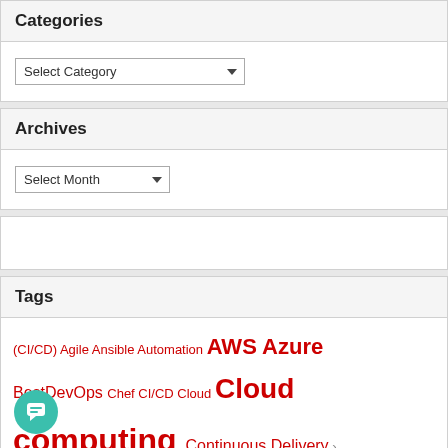Categories
Select Category (dropdown)
Archives
Select Month (dropdown)
Tags
CI/CD Agile Ansible Automation AWS Azure BestDevOps Chef CI/CD Cloud Cloud computing Continuous Delivery